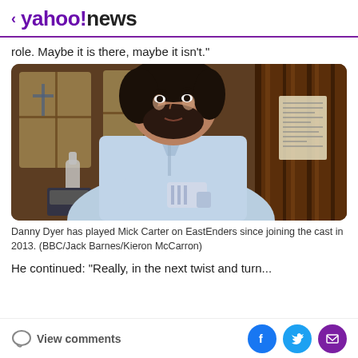< yahoo!news
role. Maybe it is there, maybe it isn't."
[Figure (photo): Danny Dyer as Mick Carter on EastEnders, wearing a light blue shirt and holding a cloth, standing near a wooden door inside a pub.]
Danny Dyer has played Mick Carter on EastEnders since joining the cast in 2013. (BBC/Jack Barnes/Kieron McCarron)
He continued: "Really, in the next twist and turn...
View comments